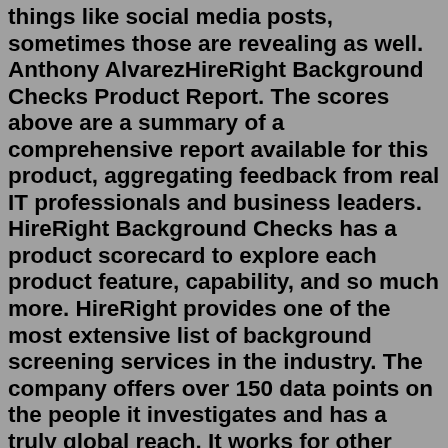things like social media posts, sometimes those are revealing as well. Anthony AlvarezHireRight Background Checks Product Report. The scores above are a summary of a comprehensive report available for this product, aggregating feedback from real IT professionals and business leaders. HireRight Background Checks has a product scorecard to explore each product feature, capability, and so much more. HireRight provides one of the most extensive list of background screening services in the industry. The company offers over 150 data points on the people it investigates and has a truly global reach. It works for other large Fortune 100 corporations, large organizations, and governments, all of whom can pay for the most thorough vetting possible.Company - Public (HRT) Industry: Research & Development. Revenue: $100 to $500 million (USD) Competitors: Accurate Background. Create Comparison. HireRight delivers global background checks, drug testing, and employment verification services through an innovative platform. We want all of our clients to